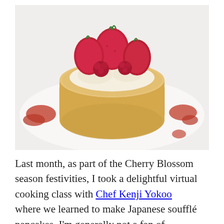[Figure (photo): A fluffy Japanese soufflé pancake topped with fresh strawberries and raspberries, served on a white plate with drops of red berry sauce around it. The pancake is tall and golden-brown, resembling a thick round cake.]
Last month, as part of the Cherry Blossom season festivities, I took a delightful virtual cooking class with Chef Kenji Yokoo where we learned to make Japanese soufflé pancakes. I'm generally not a fan of pancakes, but